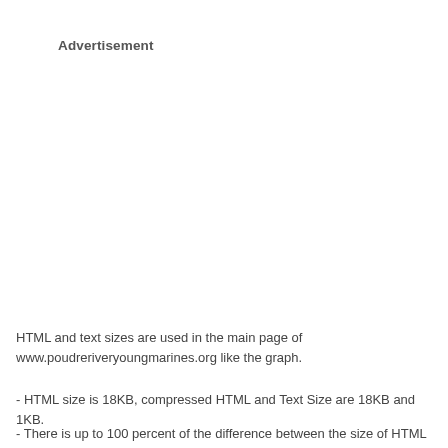Advertisement
HTML and text sizes are used in the main page of www.poudreriveryoungmarines.org like the graph.
- HTML size is 18KB, compressed HTML and Text Size are 18KB and 1KB.
- There is up to 100 percent of the difference between the size of HTML